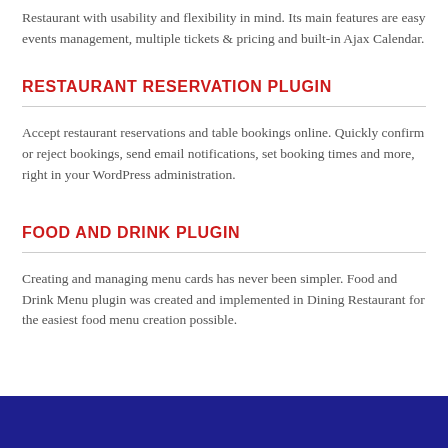Restaurant with usability and flexibility in mind. Its main features are easy events management, multiple tickets & pricing and built-in Ajax Calendar.
RESTAURANT RESERVATION PLUGIN
Accept restaurant reservations and table bookings online. Quickly confirm or reject bookings, send email notifications, set booking times and more, right in your WordPress administration.
FOOD AND DRINK PLUGIN
Creating and managing menu cards has never been simpler. Food and Drink Menu plugin was created and implemented in Dining Restaurant for the easiest food menu creation possible.